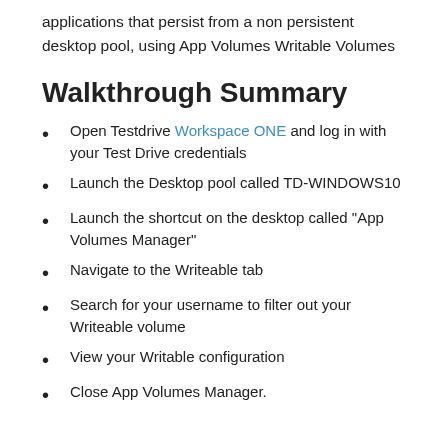In this quick walkthrough we're going to applications that persist from a non persistent desktop pool, using App Volumes Writable Volumes
Walkthrough Summary
Open Testdrive Workspace ONE and log in with your Test Drive credentials
Launch the Desktop pool called TD-WINDOWS10
Launch the shortcut on the desktop called "App Volumes Manager"
Navigate to the Writeable tab
Search for your username to filter out your Writeable volume
View your Writable configuration
Close App Volumes Manager.